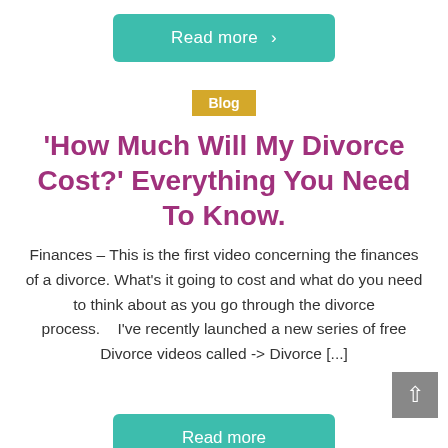Read more >
Blog
'How Much Will My Divorce Cost?' Everything You Need To Know.
Finances – This is the first video concerning the finances of a divorce. What's it going to cost and what do you need to think about as you go through the divorce process.    I've recently launched a new series of free Divorce videos called -> Divorce [...]
Read more